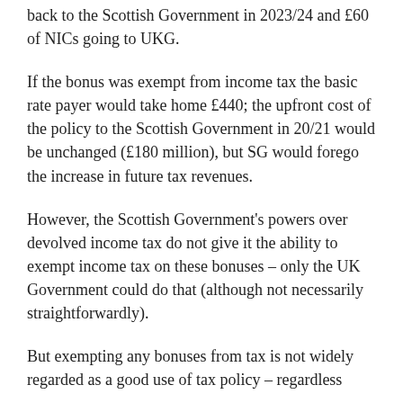back to the Scottish Government in 2023/24 and £60 of NICs going to UKG.
If the bonus was exempt from income tax the basic rate payer would take home £440; the upfront cost of the policy to the Scottish Government in 20/21 would be unchanged (£180 million), but SG would forego the increase in future tax revenues.
However, the Scottish Government's powers over devolved income tax do not give it the ability to exempt income tax on these bonuses – only the UK Government could do that (although not necessarily straightforwardly).
But exempting any bonuses from tax is not widely regarded as a good use of tax policy – regardless